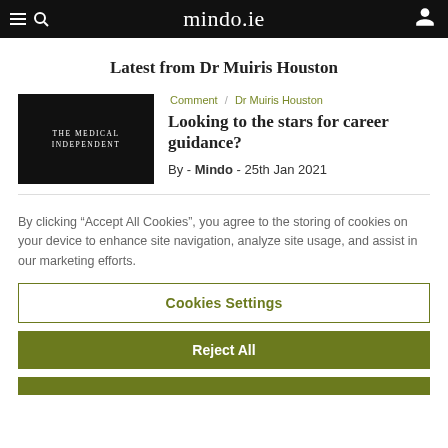mindo.ie
Latest from Dr Muiris Houston
[Figure (logo): The Medical Independent logo on black background]
Comment / Dr Muiris Houston
Looking to the stars for career guidance?
By - Mindo - 25th Jan 2021
By clicking “Accept All Cookies”, you agree to the storing of cookies on your device to enhance site navigation, analyze site usage, and assist in our marketing efforts.
Cookies Settings
Reject All